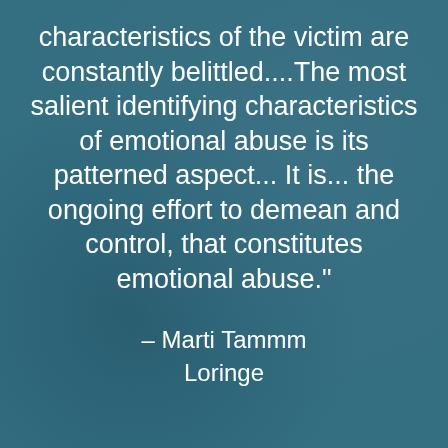characteristics of the victim are constantly belittled....The most salient identifying characteristics of emotional abuse is its patterned aspect... It is... the ongoing effort to demean and control, that constitutes emotional abuse."
– Marti Tammm Loringe